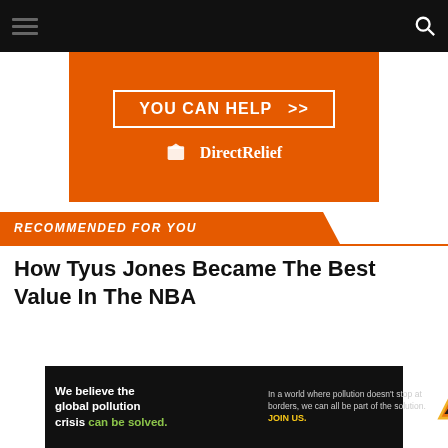Navigation bar with hamburger menu and search icon
[Figure (infographic): Orange Direct Relief advertisement banner with 'YOU CAN HELP >>' button and Direct Relief logo]
RECOMMENDED FOR YOU
How Tyus Jones Became The Best Value In The NBA
[Figure (infographic): Pure Earth advertisement: 'We believe the global pollution crisis can be solved.' with text 'In a world where pollution doesn't stop at borders, we can all be part of the solution. JOIN US.' and Pure Earth logo]